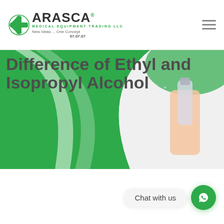[Figure (logo): Arasca Medical Equipment Trading LLC logo with green medical asterisk, company name, tagline 'New Ideas ... One Concept' and date '07.07.07']
[Figure (photo): Hero banner with green and white background showing a hand holding a spray bottle. Text overlay reads 'Difference of Ethyl and Isopropyl Alcohol' in bold dark gray.]
Difference of Ethyl and Isopropyl Alcohol
Chat with us